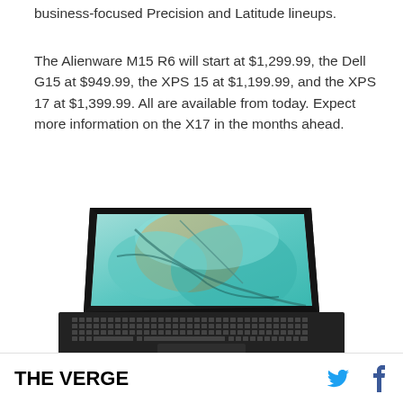business-focused Precision and Latitude lineups.
The Alienware M15 R6 will start at $1,299.99, the Dell G15 at $949.99, the XPS 15 at $1,199.99, and the XPS 17 at $1,399.99. All are available from today. Expect more information on the X17 in the months ahead.
[Figure (photo): Top-down view of a Dell laptop (open) showing a colorful abstract marble-like wallpaper on the display and the black keyboard below.]
THE VERGE